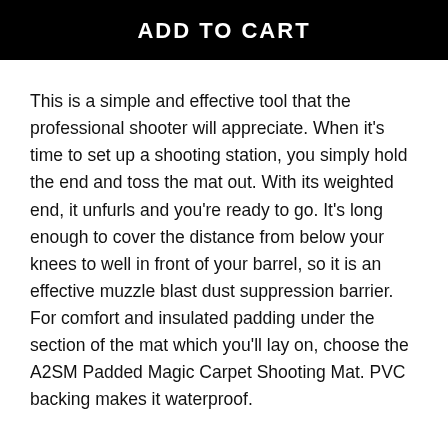ADD TO CART
This is a simple and effective tool that the professional shooter will appreciate. When it's time to set up a shooting station, you simply hold the end and toss the mat out. With its weighted end, it unfurls and you're ready to go. It's long enough to cover the distance from below your knees to well in front of your barrel, so it is an effective muzzle blast dust suppression barrier. For comfort and insulated padding under the section of the mat which you'll lay on, choose the A2SM Padded Magic Carpet Shooting Mat. PVC backing makes it waterproof.